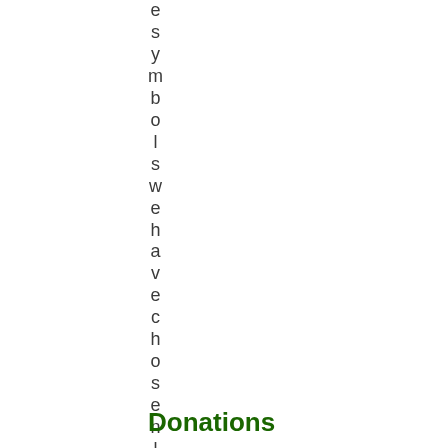e s y m b o l s w e h a v e c h o s e n l
Donations